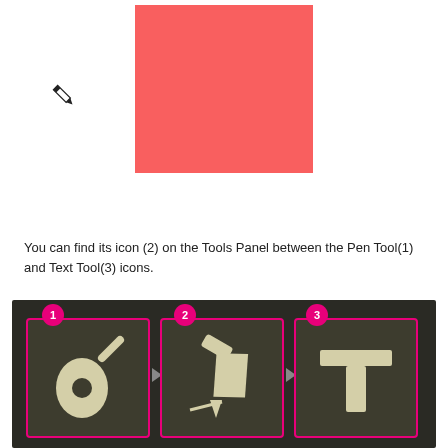[Figure (illustration): Red/coral filled rectangle shape, representing a drawn object in a design tool]
[Figure (illustration): Pencil/pen cursor icon shown to the left of the red rectangle]
You can find its icon (2) on the Tools Panel between the Pen Tool(1) and Text Tool(3) icons.
[Figure (screenshot): Screenshot of a design application Tools Panel showing three tool icons numbered 1, 2, and 3: Pen Tool (1), Pencil/Line Tool (2), and Text Tool (3), each in dark olive-colored boxes with pink borders and pink numbered circle badges.]